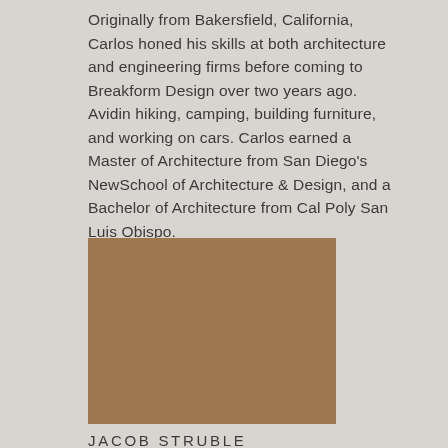Originally from Bakersfield, California, Carlos honed his skills at both architecture and engineering firms before coming to Breakform Design over two years ago. Avidin hiking, camping, building furniture, and working on cars. Carlos earned a Master of Architecture from San Diego's NewSchool of Architecture & Design, and a Bachelor of Architecture from Cal Poly San Luis Obispo.
[Figure (photo): Brown/tan colored rectangular photo placeholder for Jacob Struble]
JACOB STRUBLE